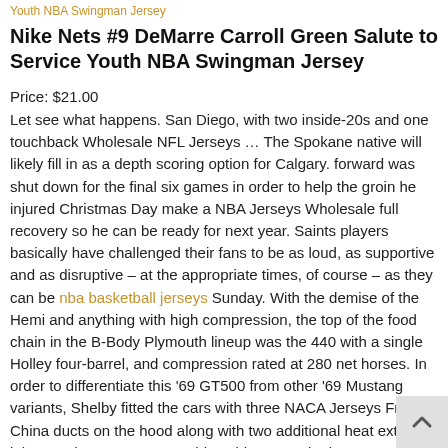Youth NBA Swingman Jersey
Nike Nets #9 DeMarre Carroll Green Salute to Service Youth NBA Swingman Jersey
Price: $21.00
Let see what happens. San Diego, with two inside-20s and one touchback Wholesale NFL Jerseys … The Spokane native will likely fill in as a depth scoring option for Calgary. forward was shut down for the final six games in order to help the groin he injured Christmas Day make a NBA Jerseys Wholesale full recovery so he can be ready for next year. Saints players basically have challenged their fans to be as loud, as supportive and as disruptive – at the appropriate times, of course – as they can be nba basketball jerseys Sunday. With the demise of the Hemi and anything with high compression, the top of the food chain in the B-Body Plymouth lineup was the 440 with a single Holley four-barrel, and compression rated at 280 net horses. In order to differentiate this '69 GT500 from other '69 Mustang variants, Shelby fitted the cars with three NACA Jerseys From China ducts on the hood along with two additional heat extracto inlets on the NHL Jerseys China sides to push air over each wheel, and brakes. Pinky Sommers nurs. Finc clamps on pres. Ste